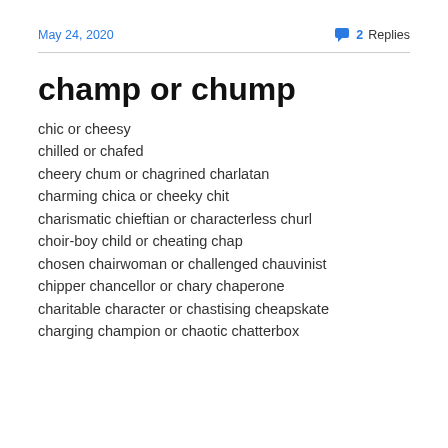May 24, 2020   2 Replies
champ or chump
chic or cheesy
chilled or chafed
cheery chum or chagrined charlatan
charming chica or cheeky chit
charismatic chieftian or characterless churl
choir-boy child or cheating chap
chosen chairwoman or challenged chauvinist
chipper chancellor or chary chaperone
charitable character or chastising cheapskate
charging champion or chaotic chatterbox